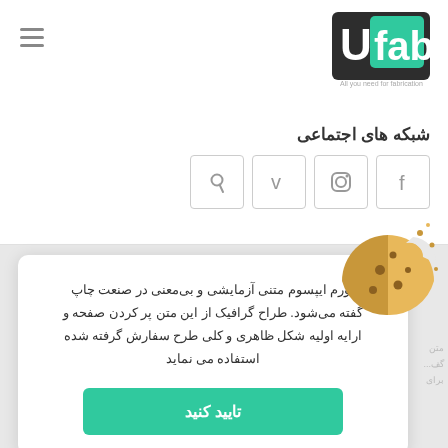[Figure (logo): UFab logo - green and dark background with text 'All you need for fabrication']
شبکه های اجتماعی
[Figure (illustration): Social media icons: Pinterest, Vimeo, Instagram, Facebook]
[Figure (illustration): Cookie/biscuit icon - partially eaten cookie in tan/gold color with dots]
لورم ایپسوم متنی آزمایشی و بی‌معنی در صنعت چاپ گفته می‌شود. طراح گرافیک از این متن پر کردن صفحه و ارایه اولیه شکل ظاهری و کلی طرح سفارش گرفته شده استفاده می نماید
تایید کنید